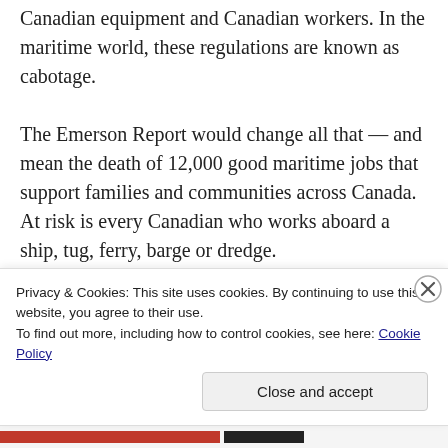Canadian equipment and Canadian workers. In the maritime world, these regulations are known as cabotage. The Emerson Report would change all that — and mean the death of 12,000 good maritime jobs that support families and communities across Canada. At risk is every Canadian who works aboard a ship, tug, ferry, barge or dredge. The Trudeau government's goal? To allow the industry to hire foreign seafarers paid as little as $1.26 per hour – a wage no Canadian worker can live on. And that's just where it starts. Job losses will mushroom across air and rail transport in the tens of thousands for all the
Privacy & Cookies: This site uses cookies. By continuing to use this website, you agree to their use.
To find out more, including how to control cookies, see here: Cookie Policy
Close and accept